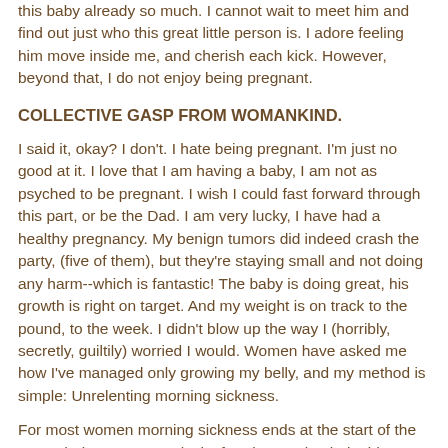this baby already so much. I cannot wait to meet him and find out just who this great little person is. I adore feeling him move inside me, and cherish each kick. However, beyond that, I do not enjoy being pregnant.
COLLECTIVE GASP FROM WOMANKIND.
I said it, okay? I don't. I hate being pregnant. I'm just no good at it. I love that I am having a baby, I am not as psyched to be pregnant. I wish I could fast forward through this part, or be the Dad. I am very lucky, I have had a healthy pregnancy. My benign tumors did indeed crash the party, (five of them), but they're staying small and not doing any harm--which is fantastic! The baby is doing great, his growth is right on target. And my weight is on track to the pound, to the week. I didn't blow up the way I (horribly, secretly, guiltily) worried I would. Women have asked me how I've managed only growing my belly, and my method is simple: Unrelenting morning sickness.
For most women morning sickness ends at the start of the second trimester. For a lucky few, it stays by their side,